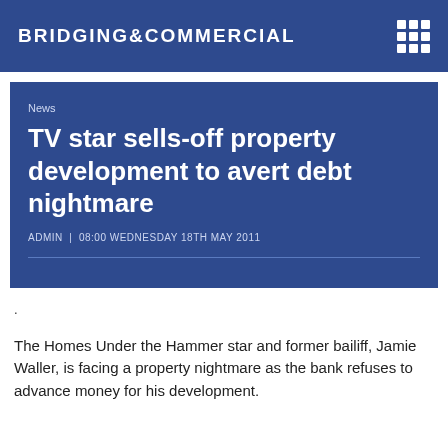BRIDGING&COMMERCIAL
News
TV star sells-off property development to avert debt nightmare
ADMIN  |  08:00 WEDNESDAY 18TH MAY 2011
.
The Homes Under the Hammer star and former bailiff, Jamie Waller, is facing a property nightmare as the bank refuses to advance money for his development.